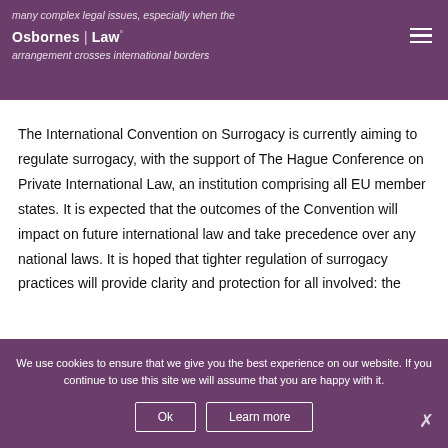many complex legal issues, especially when the arrangement crosses international borders
[Figure (logo): Osbornes Law logo with white text on purple background]
The International Convention on Surrogacy is currently aiming to regulate surrogacy, with the support of The Hague Conference on Private International Law, an institution comprising all EU member states. It is expected that the outcomes of the Convention will impact on future international law and take precedence over any national laws. It is hoped that tighter regulation of surrogacy practices will provide clarity and protection for all involved: the
We use cookies to ensure that we give you the best experience on our website. If you continue to use this site we will assume that you are happy with it.